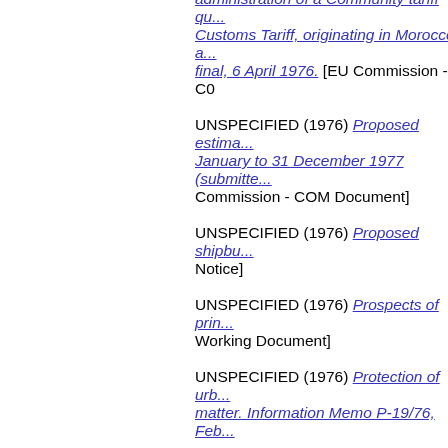UNSPECIFIED (1976) [partial - Customs Tariff, originating in Morocco... final, 6 April 1976.] [EU Commission - COM Document]
UNSPECIFIED (1976) Proposed estima... January to 31 December 1977 (submitte... Commission - COM Document]
UNSPECIFIED (1976) Proposed shipbu... Notice]
UNSPECIFIED (1976) Prospects of prin... Working Document]
UNSPECIFIED (1976) Protection of urb... matter. Information Memo P-19/76, Feb...
UNSPECIFIED (1976) Protection sanita... workers exposed to vinyl chloride mono...
UNSPECIFIED (1976) Provisional prog... Commission - Press Notice]
UNSPECIFIED (1976) Public supply co...